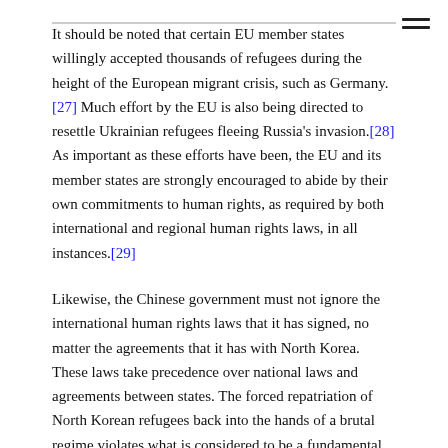It should be noted that certain EU member states willingly accepted thousands of refugees during the height of the European migrant crisis, such as Germany.[27] Much effort by the EU is also being directed to resettle Ukrainian refugees fleeing Russia's invasion.[28] As important as these efforts have been, the EU and its member states are strongly encouraged to abide by their own commitments to human rights, as required by both international and regional human rights laws, in all instances.[29]
Likewise, the Chinese government must not ignore the international human rights laws that it has signed, no matter the agreements that it has with North Korea. These laws take precedence over national laws and agreements between states. The forced repatriation of North Korean refugees back into the hands of a brutal regime violates what is considered to be a fundamental human right, the